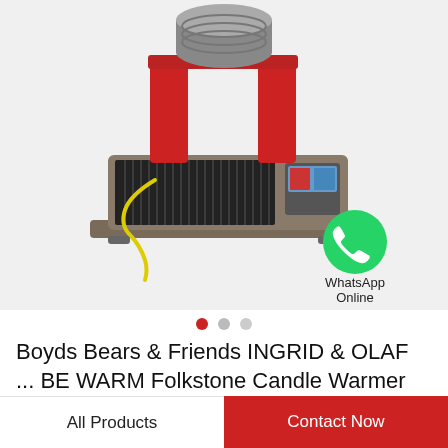[Figure (photo): Industrial induction bearing heater with red vertical supports, a cylindrical coil on top, black heat sink fins on the front panel, and a digital display panel. A yellow coiled cable hangs from the left side. A green WhatsApp icon with label 'WhatsApp Online' appears in the lower right of the image area.]
Boyds Bears & Friends INGRID & OLAF ... BE WARM Folkstone Candle Warmer #27801
All Products
Contact Now